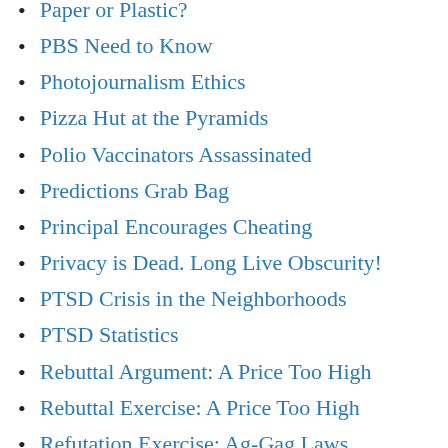Paper or Plastic?
PBS Need to Know
Photojournalism Ethics
Pizza Hut at the Pyramids
Polio Vaccinators Assassinated
Predictions Grab Bag
Principal Encourages Cheating
Privacy is Dead. Long Live Obscurity!
PTSD Crisis in the Neighborhoods
PTSD Statistics
Rebuttal Argument: A Price Too High
Rebuttal Exercise: A Price Too High
Refutation Exercise: Ag-Gag Laws
Riddle: What is Rape?
Sample Student Proposal
Sleeping On It